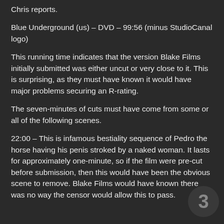Chris reports.
Blue Underground (us) – DVD – 99:56 (minus StudioCanal logo)
This running time indicates that the version Blake Films initially submitted was either uncut or very close to it. This is surprising, as they must have known it would have major problems securing an R-rating.
The seven-minutes of cuts must have come from some or all of the following scenes.
22:00 – This is infamous bestiality sequence of Pedro the horse having his penis stroked by a naked woman. It lasts for approximately one-minute, so if the film were pre-cut before submission, then this would have been the obvious scene to remove. Blake Films would have known there was no way the censor would allow this to pass.